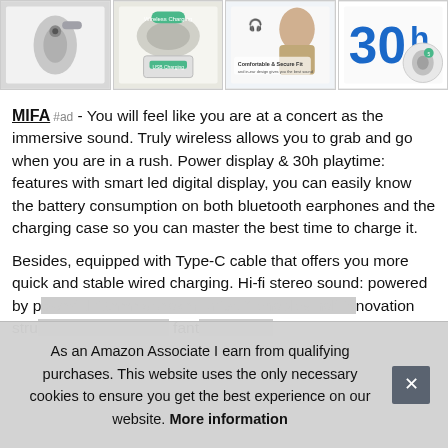[Figure (photo): Strip of four product thumbnail images showing wireless earphones and charging cases]
MIFA #ad - You will feel like you are at a concert as the immersive sound. Truly wireless allows you to grab and go when you are in a rush. Power display & 30h playtime: features with smart led digital display, you can easily know the battery consumption on both bluetooth earphones and the charging case so you can master the best time to charge it.
Besides, equipped with Type-C cable that offers you more quick and stable wired charging. Hi-fi stereo sound: powered by p...ful 10... ...chi... ...it... ...alf i... ...nti... stru... fant...
As an Amazon Associate I earn from qualifying purchases. This website uses the only necessary cookies to ensure you get the best experience on our website. More information